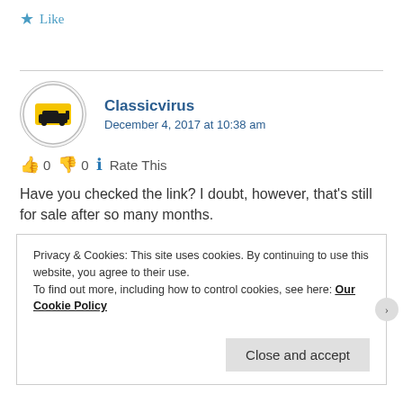★ Like
Classicvirus
December 4, 2017 at 10:38 am
👍 0 👎 0 ℹ Rate This
Have you checked the link? I doubt, however, that's still for sale after so many months.
Privacy & Cookies: This site uses cookies. By continuing to use this website, you agree to their use.
To find out more, including how to control cookies, see here: Our Cookie Policy
Close and accept